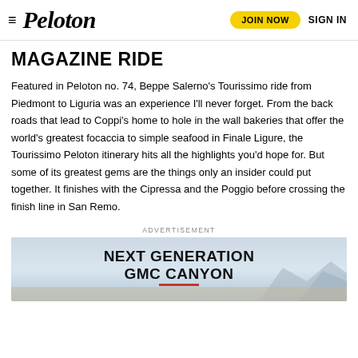Peloton — JOIN NOW  SIGN IN
MAGAZINE RIDE
Featured in Peloton no. 74, Beppe Salerno's Tourissimo ride from Piedmont to Liguria was an experience I'll never forget. From the back roads that lead to Coppi's home to hole in the wall bakeries that offer the world's greatest focaccia to simple seafood in Finale Ligure, the Tourissimo Peloton itinerary hits all the highlights you'd hope for. But some of its greatest gems are the things only an insider could put together. It finishes with the Cipressa and the Poggio before crossing the finish line in San Remo.
ADVERTISEMENT
[Figure (infographic): GMC Canyon advertisement showing 'NEXT GENERATION GMC CANYON' text over a desert landscape background with mountains, with a red underline accent beneath the text.]